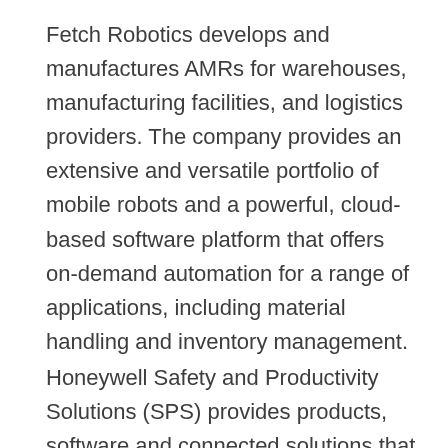Fetch Robotics develops and manufactures AMRs for warehouses, manufacturing facilities, and logistics providers. The company provides an extensive and versatile portfolio of mobile robots and a powerful, cloud-based software platform that offers on-demand automation for a range of applications, including material handling and inventory management.
Honeywell Safety and Productivity Solutions (SPS) provides products, software and connected solutions that improve productivity, workplace safety and asset performance for our customers across the globe. We deliver on this promise through industry-leading mobile devices, software, cloud technology and automation solutions, the